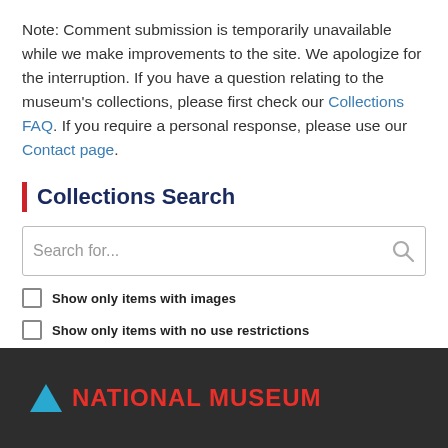Note: Comment submission is temporarily unavailable while we make improvements to the site. We apologize for the interruption. If you have a question relating to the museum's collections, please first check our Collections FAQ. If you require a personal response, please use our Contact page.
Collections Search
[Figure (screenshot): Search input box with placeholder text 'Search for...' and a search icon on the right]
Show only items with images
Show only items with no use restrictions
NATIONAL MUSEUM